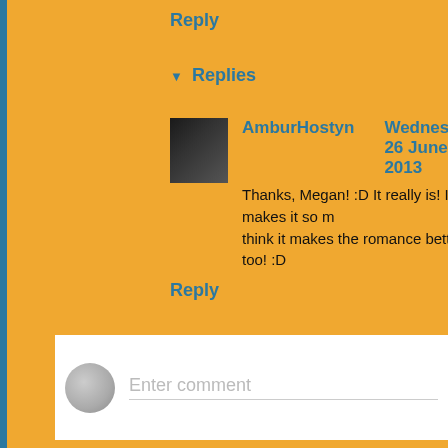Reply
Replies
AmburHostyn   Wednesday, 26 June 2013
Thanks, Megan! :D It really is! It makes it so m... think it makes the romance better, too! :D
Reply
[Figure (other): Enter comment input box with user avatar icon]
Comments are like smiles. Free to give, but precious to receive. my blog and taking the time to comment. I treasure every one. probably find a reply. :D
Newer Post